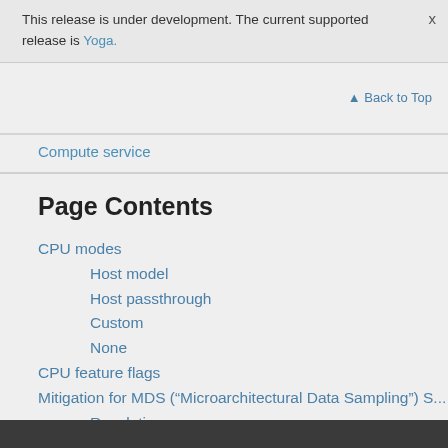This release is under development. The current supported release is Yoga.
x
▲ Back to Top
Compute service
Page Contents
CPU modes
Host model
Host passthrough
Custom
None
CPU feature flags
Mitigation for MDS (“Microarchitectural Data Sampling”) S...
Resolution
Validation
Performance Impact